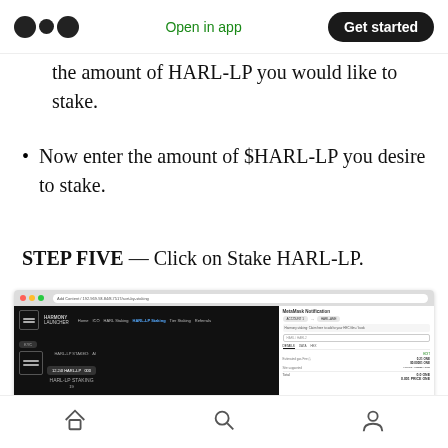Open in app | Get started
the amount of HARL-LP you would like to stake.
Now enter the amount of $HARL-LP you desire to stake.
STEP FIVE — Click on Stake HARL-LP.
[Figure (screenshot): Screenshot of Harmony Launcher web app showing HARL-LP Staking interface with MetaMask wallet popup on the right showing transaction details including estimated gas fee of $0.00001 ONE and total of $0.0001 ONE.]
Home | Search | Profile